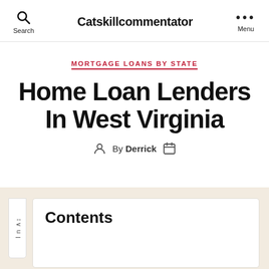Search | Catskillcommentator | Menu
MORTGAGE LOANS BY STATE
Home Loan Lenders In West Virginia
By Derrick
Contents